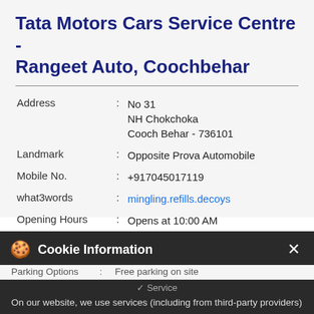Tata Motors Cars Service Centre - Rangeet Auto, Coochbehar
| Address | : | No 31
NH Chokchoka
Cooch Behar - 736101 |
| Landmark | : | Opposite Prova Automobile |
| Mobile No. | : | +917045017119 |
| what3words | : | mingling.refills.decoys |
| Opening Hours | : | Opens at 10:00 AM
OPENING SOON |
Payment Method : Cash, Cheque, Debit Card, Master Card, Online Payment, Visa
Parking Options : Free parking on site
[Figure (screenshot): Cookie Information banner overlay with dark background. Shows cookie emoji icon, title 'Cookie Information' with close X button, body text about website services and consent, partially visible background rows, and bottom buttons: CLICK TO CALL, DIRECTIONS (partial), and I ACCEPT.]